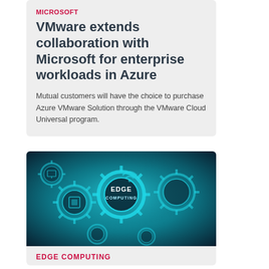MICROSOFT
VMware extends collaboration with Microsoft for enterprise workloads in Azure
Mutual customers will have the choice to purchase Azure VMware Solution through the VMware Cloud Universal program.
[Figure (photo): Teal-tinted image of interconnected gears with technology icons, featuring the text 'EDGE COMPUTING' prominently on the central gear]
EDGE COMPUTING